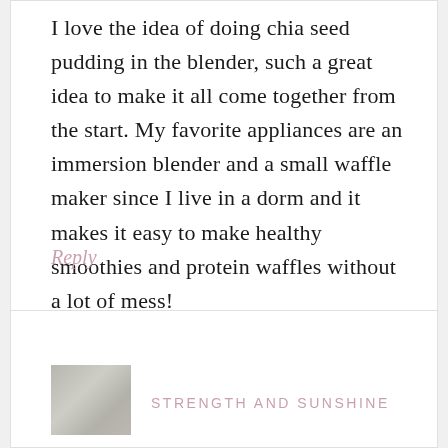I love the idea of doing chia seed pudding in the blender, such a great idea to make it all come together from the start. My favorite appliances are an immersion blender and a small waffle maker since I live in a dorm and it makes it easy to make healthy smoothies and protein waffles without a lot of mess!
Reply
STRENGTH AND SUNSHINE